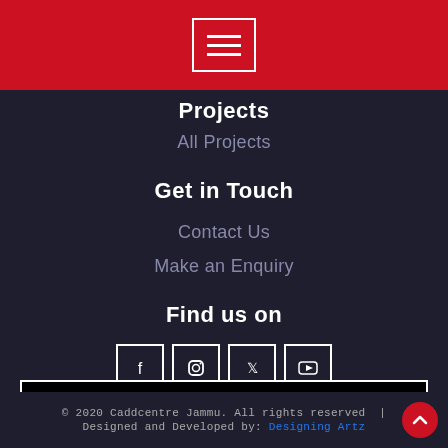[Figure (screenshot): Red header bar with white hamburger menu icon (three horizontal lines inside a white rectangle border)]
Projects
All Projects
Get in Touch
Contact Us
Make an Enquiry
Find us on
[Figure (illustration): Row of four social media icon boxes (Facebook, Instagram, Twitter, YouTube) with white borders on dark background]
Click to Fill Online Registration Form
© 2020 Caddcentre Jammu. All rights reserved | Designed and Developed by: Designing Artz